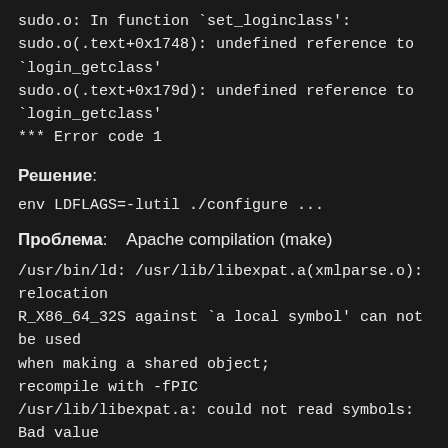sudo.o: In function `set_loginclass':
sudo.o(.text+0x1748): undefined reference to `login_getclass'
sudo.o(.text+0x179d): undefined reference to `login_getclass'
*** Error code 1
Решение:
env LDFLAGS=-lutil ./configure ...
Проблема:    Apache compilation (make)
/usr/bin/ld: /usr/lib/libexpat.a(xmlparse.o): relocation R_X86_64_32S against `a local symbol' can not be used when making a shared object;
recompile with -fPIC
/usr/lib/libexpat.a: could not read symbols: Bad value
collect2: ld returned 1 exit status